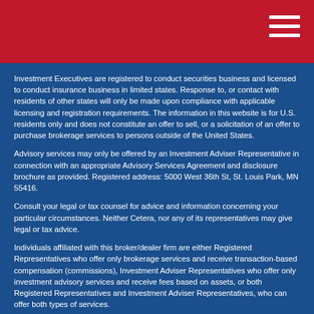Investment Executives are registered to conduct securities business and licensed to conduct insurance business in limited states. Response to, or contact with residents of other states will only be made upon compliance with applicable licensing and registration requirements. The information in this website is for U.S. residents only and does not constitute an offer to sell, or a solicitation of an offer to purchase brokerage services to persons outside of the United States.
Advisory services may only be offered by an Investment Adviser Representative in connection with an appropriate Advisory Services Agreement and disclosure brochure as provided. Registered address: 5000 West 36th St, St. Louis Park, MN 55416.
Consult your legal or tax counsel for advice and information concerning your particular circumstances. Neither Cetera, nor any of its representatives may give legal or tax advice.
Individuals affiliated with this broker/dealer firm are either Registered Representatives who offer only brokerage services and receive transaction-based compensation (commissions), Investment Adviser Representatives who offer only investment advisory services and receive fees based on assets, or both Registered Representatives and Investment Adviser Representatives, who can offer both types of services.